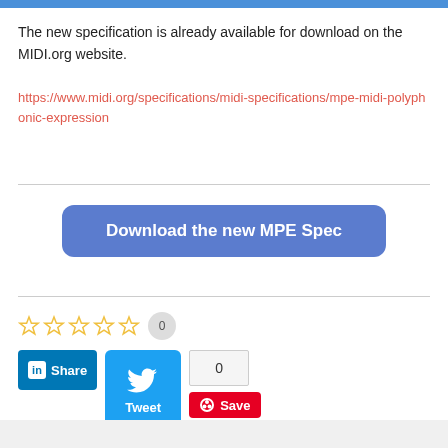The new specification is already available for download on the MIDI.org website.
https://www.midi.org/specifications/midi-specifications/mpe-midi-polyphonic-expression
[Figure (other): Download the new MPE Spec button - blue rounded rectangle button with white text]
[Figure (other): Star rating row with 5 empty stars and a count badge showing 0]
[Figure (other): Social sharing buttons: LinkedIn Share, Twitter Tweet (with count 0), and Pinterest Save]